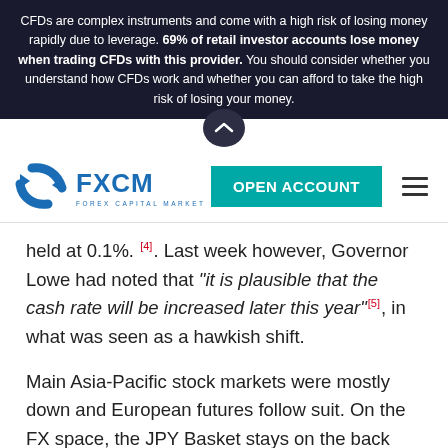CFDs are complex instruments and come with a high risk of losing money rapidly due to leverage. 69% of retail investor accounts lose money when trading CFDs with this provider. You should consider whether you understand how CFDs work and whether you can afford to take the high risk of losing your money.
[Figure (logo): FXCM Forex Capital Markets logo with teal OPEN ACCOUNT button and hamburger menu icon]
held at 0.1%. [4]. Last week however, Governor Lowe had noted that "it is plausible that the cash rate will be increased later this year" [5], in what was seen as a hawkish shift.
Main Asia-Pacific stock markets were mostly down and European futures follow suit. On the FX space, the JPY Basket stays on the back foot and the US Dollar is tepid, while Antipodeans